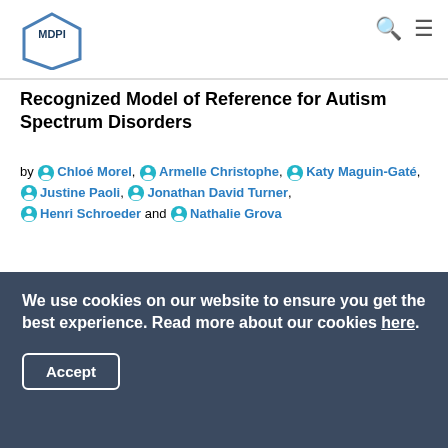MDPI
Recognized Model of Reference for Autism Spectrum Disorders
by Chloé Morel, Armelle Christophe, Katy Maguin-Gaté, Justine Paoli, Jonathan David Turner, Henri Schroeder and Nathalie Grova
Toxics 2022, 10(4), 180; https://0-doi-org.brum.beds.ac.uk/10.3390/toxics10040180 - 06 Apr 2022
Viewed by 1325
Abstract Evidence is now growing that exposure to environmental pollutants during the critical early-life period of brain development may contribute to the emergence of Autism Spectrum Disorders (ASD). This study seeks to compare the developmental neurotoxicity of the α-isomer of hexabromocyclododecane (α-HBCDD), a persistent [...]
We use cookies on our website to ensure you get the best experience. Read more about our cookies here. Accept